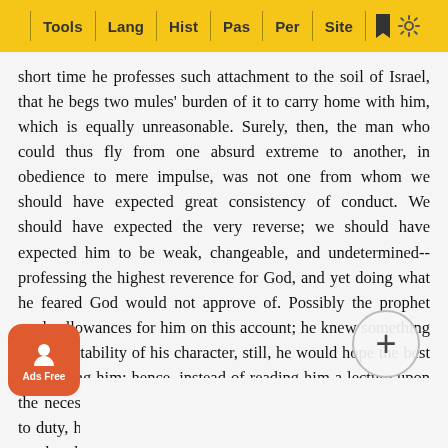Tools | Lang | Hist | Pas | Per | Site
short time he professes such attachment to the soil of Israel, that he begs two mules' burden of it to carry home with him, which is equally unreasonable. Surely, then, the man who could thus fly from one absurd extreme to another, in obedience to mere impulse, was not one from whom we should have expected great consistency of conduct. We should have expected the very reverse; we should have expected him to be weak, changeable, and undetermined--professing the highest reverence for God, and yet doing what he feared God would not approve of. Possibly the prophet made allowances for him on this account; he knew something of the instability of his character, still, he would hope the best concerning him; hence, instead of reading him a lecture upon the necessity of firm, consistent, uncompromising adherence to duty, he simply said, “Go in peace,” trusting, perhaps, that as he became more enlightened in Divine truth, his lo... time to spe... under... most